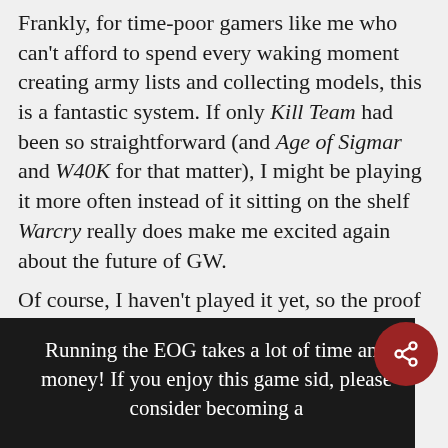Frankly, for time-poor gamers like me who can't afford to spend every waking moment creating army lists and collecting models, this is a fantastic system. If only Kill Team had been so straightforward (and Age of Sigmar and W40K for that matter), I might be playing it more often instead of it sitting on the shelf Warcry really does make me excited again about the future of GW.
Of course, I haven't played it yet, so the proof is in the mindless slaughter!
Running the EOG takes a lot of time and money! If you enjoy this game sid, please consider becoming a